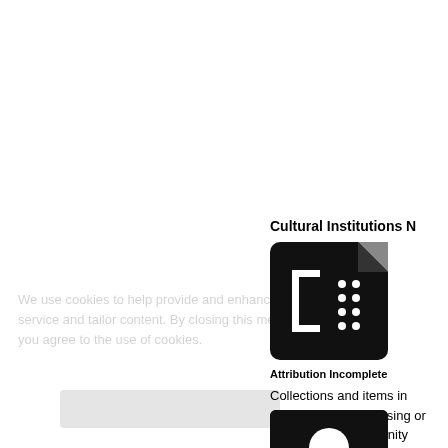We use cookies to help provide and enhance our service and tailor content. By closing this message, you agree to the use of cookies.
Cultural Institutions N
[Figure (illustration): Black document/file icon with a bracket symbol and dotted pattern on dark background, with a grey folded corner top-right]
Attribution Incomplete
Collections and items in attribution. We are using or corrected by community partnerships to address